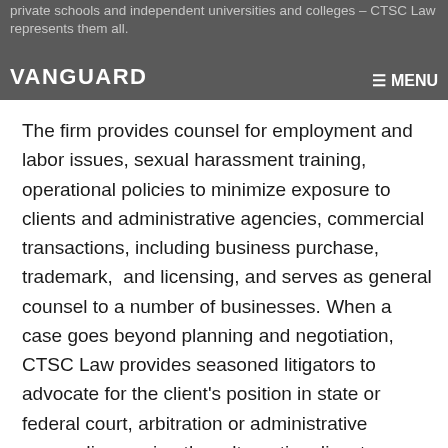private schools and independent universities and colleges – CTSC Law represents them all.
The firm provides counsel for employment and labor issues, sexual harassment training, operational policies to minimize exposure to clients and administrative agencies, commercial transactions, including business purchase, trademark,  and licensing, and serves as general counsel to a number of businesses. When a case goes beyond planning and negotiation, CTSC Law provides seasoned litigators to advocate for the client's position in state or federal court, arbitration or administrative proceedings or in other alternative dispute resolution forms.